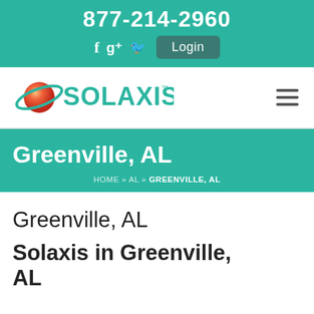877-214-2960
[Figure (logo): Solaxis logo with orange/red planet graphic and teal text reading SOLAXIS with a trademark symbol]
Greenville, AL
HOME » AL » GREENVILLE, AL
Greenville, AL
Solaxis in Greenville, AL